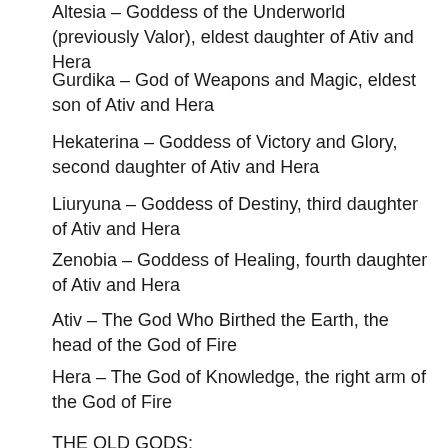Altesia – Goddess of the Underworld (previously Valor), eldest daughter of Ativ and Hera
Gurdika – God of Weapons and Magic, eldest son of Ativ and Hera
Hekaterina – Goddess of Victory and Glory, second daughter of Ativ and Hera
Liuryuna – Goddess of Destiny, third daughter of Ativ and Hera
Zenobia – Goddess of Healing, fourth daughter of Ativ and Hera
Ativ – The God Who Birthed the Earth, the head of the God of Fire
Hera – The God of Knowledge, the right arm of the God of Fire
THE OLD GODS:
God of Fire – humans
God of Wind – demihumans